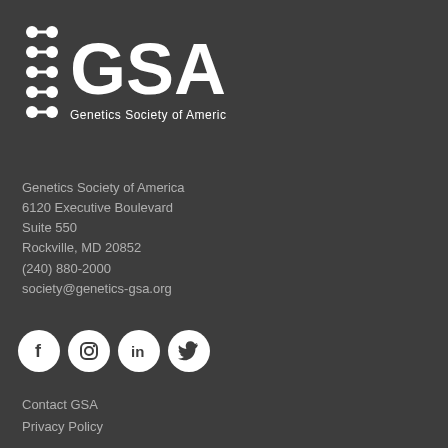[Figure (logo): GSA Genetics Society of America logo with DNA-like dot pattern icon]
Genetics Society of America
6120 Executive Boulevard
Suite 550
Rockville, MD 20852
(240) 880-2000
society@genetics-gsa.org
[Figure (infographic): Social media icons: Facebook, Instagram, LinkedIn, Twitter]
Contact GSA
Privacy Policy